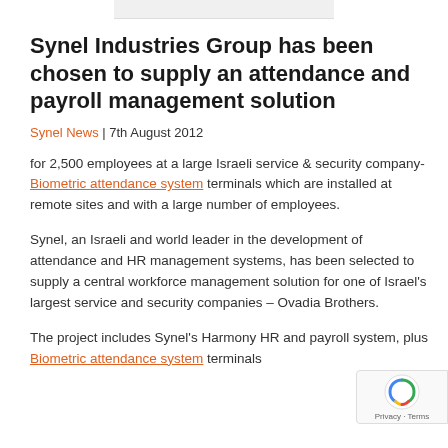[Figure (other): Top navigation bar partial screenshot]
Synel Industries Group has been chosen to supply an attendance and payroll management solution
Synel News | 7th August 2012
for 2,500 employees at a large Israeli service & security company- Biometric attendance system terminals which are installed at remote sites and with a large number of employees.
Synel, an Israeli and world leader in the development of attendance and HR management systems, has been selected to supply a central workforce management solution for one of Israel's largest service and security companies – Ovadia Brothers.
The project includes Synel's Harmony HR and payroll system, plus Biometric attendance system terminals